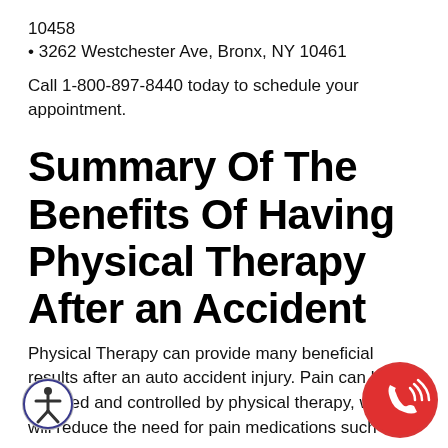10458
• 3262 Westchester Ave, Bronx, NY 10461
Call 1-800-897-8440 today to schedule your appointment.
Summary Of The Benefits Of Having Physical Therapy After an Accident
Physical Therapy can provide many beneficial results after an auto accident injury. Pain can be reduced and controlled by physical therapy, which will reduce the need for pain medications such as